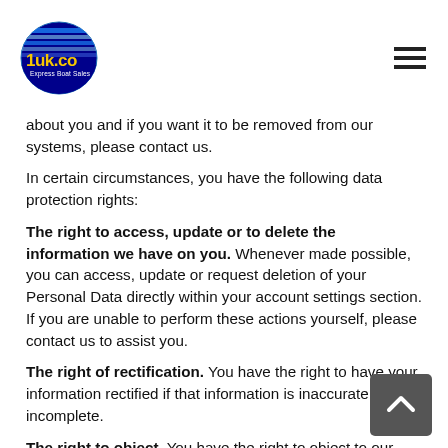1uk.co Express Boat Sales
about you and if you want it to be removed from our systems, please contact us.
In certain circumstances, you have the following data protection rights:
The right to access, update or to delete the information we have on you. Whenever made possible, you can access, update or request deletion of your Personal Data directly within your account settings section. If you are unable to perform these actions yourself, please contact us to assist you.
The right of rectification. You have the right to have your information rectified if that information is inaccurate or incomplete.
The right to object. You have the right to object to our